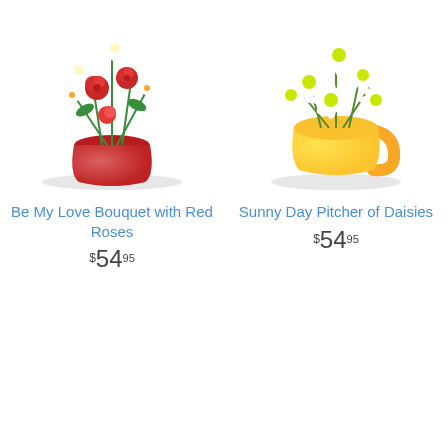[Figure (photo): Red vase with red roses, white lilies, and white daisy flowers arrangement]
Be My Love Bouquet with Red Roses
$54.95
[Figure (photo): Yellow ceramic pitcher with white daisy flowers arrangement]
Sunny Day Pitcher of Daisies
$54.95